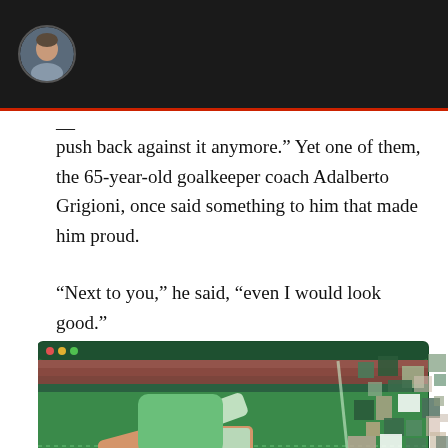push back against it anymore." Yet one of them, the 65-year-old goalkeeper coach Adalberto Grigioni, once said something to him that made him proud.
"Next to you," he said, "even I would look good."
[Figure (illustration): Pixelated/glitched illustration of a soccer player kicking a ball on a green field, shown inside a video player interface frame. The image disintegrates into pixel blocks on the right side, suggesting digital fragmentation.]